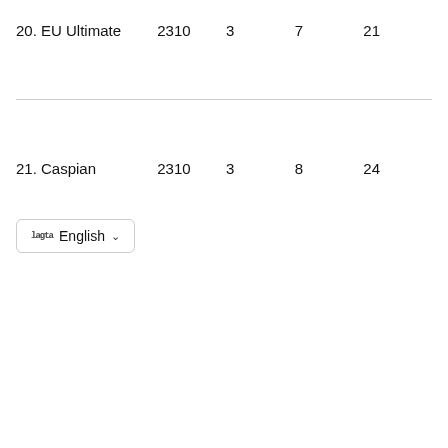20. EU Ultimate  2310  3  7  21
21. Caspian  2310  3  8  24